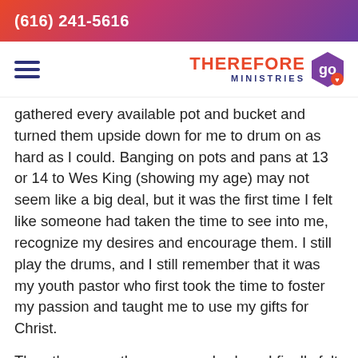(616) 241-5616
[Figure (logo): Therefore Go Ministries logo with hamburger menu icon]
gathered every available pot and bucket and turned them upside down for me to drum on as hard as I could. Banging on pots and pans at 13 or 14 to Wes King (showing my age) may not seem like a big deal, but it was the first time I felt like someone had taken the time to see into me, recognize my desires and encourage them. I still play the drums, and I still remember that it was my youth pastor who first took the time to foster my passion and taught me to use my gifts for Christ.
Then there was the camp week where I finally felt the freedom to say that "I just must not feel it as much as the other students" because my emotions